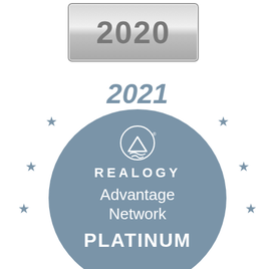[Figure (logo): 2020 award badge - rectangular silver/gradient badge with '2020' text in bold grey numerals, with a border]
[Figure (logo): 2021 Realogy Advantage Network Platinum Award Winner circular badge in steel blue/grey color with stars around the circle and curved 'AWARD WINNER' text at bottom]